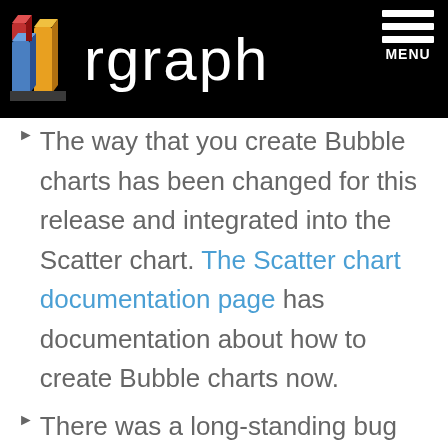rgraph MENU
The way that you create Bubble charts has been changed for this release and integrated into the Scatter chart. The Scatter chart documentation page has documentation about how to create Bubble charts now.
There was a long-standing bug with the responsive() function and anti-